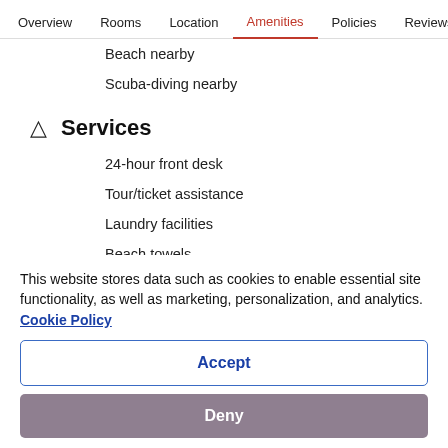Overview  Rooms  Location  Amenities  Policies  Reviews
Beach nearby
Scuba-diving nearby
Services
24-hour front desk
Tour/ticket assistance
Laundry facilities
Beach towels
Beach umbrellas
This website stores data such as cookies to enable essential site functionality, as well as marketing, personalization, and analytics. Cookie Policy
Accept
Deny